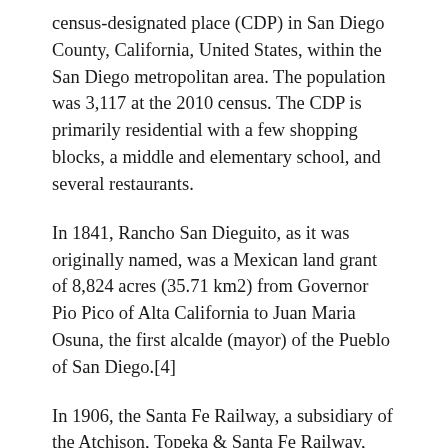census-designated place (CDP) in San Diego County, California, United States, within the San Diego metropolitan area. The population was 3,117 at the 2010 census. The CDP is primarily residential with a few shopping blocks, a middle and elementary school, and several restaurants.
In 1841, Rancho San Dieguito, as it was originally named, was a Mexican land grant of 8,824 acres (35.71 km2) from Governor Pio Pico of Alta California to Juan Maria Osuna, the first alcalde (mayor) of the Pueblo of San Diego.[4]
In 1906, the Santa Fe Railway, a subsidiary of the Atchison, Topeka & Santa Fe Railway, purchased the entire land grant to plant a Blue gum eucalyptus (Eucalyptus globulus) tree plantation for use as railroad ties, but the wood proved too soft to hold railroad spikes. The railroad then formed the Santa Fe Land Improvement Company to develop a planned community of country estates, and 6,200 acres developed from the original Rancho San Dieguito land grant were